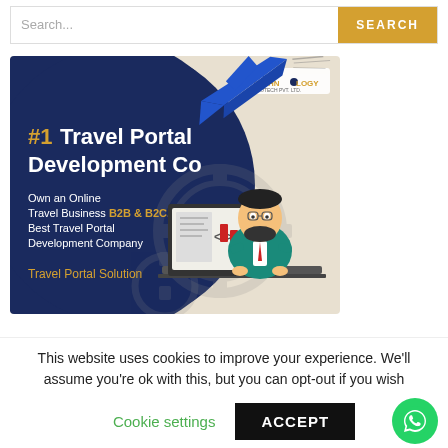[Figure (screenshot): Search bar with text input placeholder 'Search...' and a golden 'SEARCH' button on the right]
[Figure (illustration): Advertisement banner for #1 Travel Portal Development Co. Dark blue and beige background with airplane illustration, gear icons, and a cartoon character of a bearded man working at a computer. Text: '#1 Travel Portal Development Co', 'Own an Online Travel Business B2B & B2C. Best Travel Portal Development Company', 'Travel Portal Solution'. Logo 'TECHNOLOGY' in top right corner.]
This website uses cookies to improve your experience. We'll assume you're ok with this, but you can opt-out if you wish
Cookie settings    ACCEPT